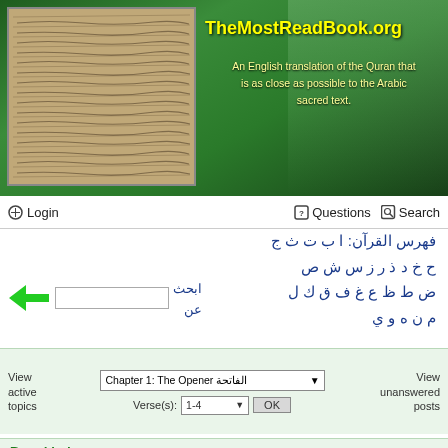[Figure (screenshot): Header banner with stone/Quran manuscript photo on left and site title on green background with waterfall/forest imagery]
TheMostReadBook.org
An English translation of the Quran that is as close as possible to the Arabic sacred text.
Login   Questions   Search
فهرس القرآن: ا ب ت ث ج
ح خ د ذ ر ز س ش ص
ض ط ظ ع غ ف ق ك ل
م ن ه و ي
Chapter 1: The Opener الفاتحة
Verse(s): 1-4
View active topics   View unanswered posts
Board index
Frequently Asked Questions
Questions about this Discussion Board
What is this board about?
Are there any special posting guidelines?
I see some strange characters
Login and Registration Issues